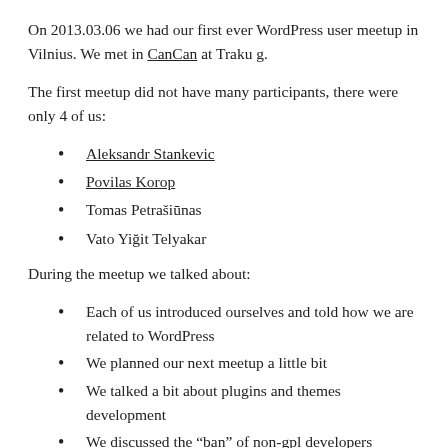On 2013.03.06 we had our first ever WordPress user meetup in Vilnius. We met in CanCan at Traku g.
The first meetup did not have many participants, there were only 4 of us:
Aleksandr Stankevic
Povilas Korop
Tomas Petrašiūnas
Vato Yiğit Telyakar
During the meetup we talked about:
Each of us introduced ourselves and told how we are related to WordPress
We planned our next meetup a little bit
We talked a bit about plugins and themes development
We discussed the “ban” of non-gpl developers speaking at WordCamp
Povilas has shared his experience